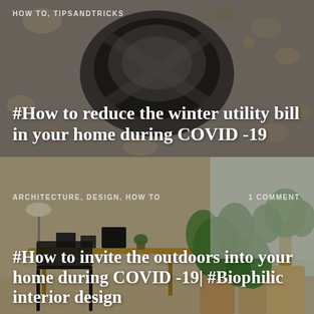[Figure (photo): Top card: dark/warm toned photo of a laptop or tablet surrounded by nuts, seeds, and decorative objects on a grey surface, with a dark overlay.]
HOW TO, TIPSANDTRICKS
#How to reduce the winter utility bill in your home during COVID -19
[Figure (photo): Bottom card: bright interior photo showing a wooden desk with black rattan chair, framed photos, small plants, and large tropical potted plants on right side.]
ARCHITECTURE, DESIGN, HOW TO
1 COMMENT
#How to invite the outdoors into your home during COVID -19| #Biophilic interior design